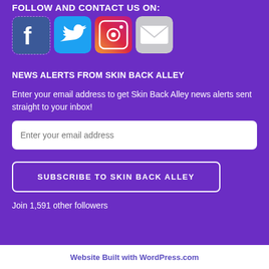FOLLOW AND CONTACT US ON:
[Figure (illustration): Four social media icons in a row: Facebook (blue rounded square with white 'f'), Twitter (cyan rounded square with white bird), Instagram (rounded square with camera lens graphic), and Email/Mail (grey rounded square with envelope icon)]
NEWS ALERTS FROM SKIN BACK ALLEY
Enter your email address to get Skin Back Alley news alerts sent straight to your inbox!
Enter your email address
SUBSCRIBE TO SKIN BACK ALLEY
Join 1,591 other followers
Website Built with WordPress.com